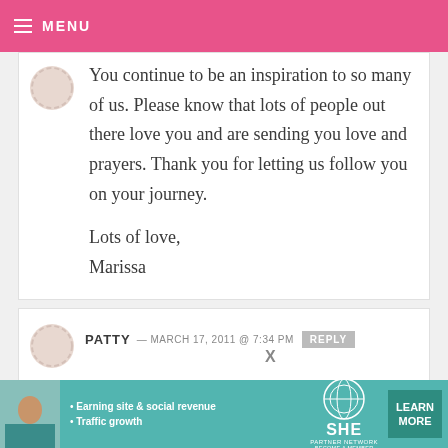MENU
You continue to be an inspiration to so many of us. Please know that lots of people out there love you and are sending you love and prayers. Thank you for letting us follow you on your journey.

Lots of love,
Marissa
PATTY — MARCH 17, 2011 @ 7:34 PM REPLY
[Figure (screenshot): SHE Partner Network advertisement banner with photo, bullets about earning site & social revenue and traffic growth, SHE logo, and LEARN MORE button]